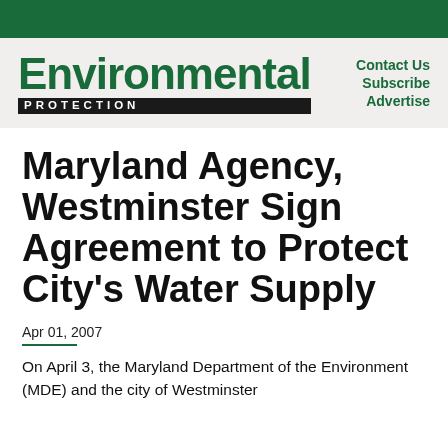Environmental Protection
Contact Us  Subscribe  Advertise
Maryland Agency, Westminster Sign Agreement to Protect City's Water Supply
Apr 01, 2007
On April 3, the Maryland Department of the Environment (MDE) and the city of Westminster